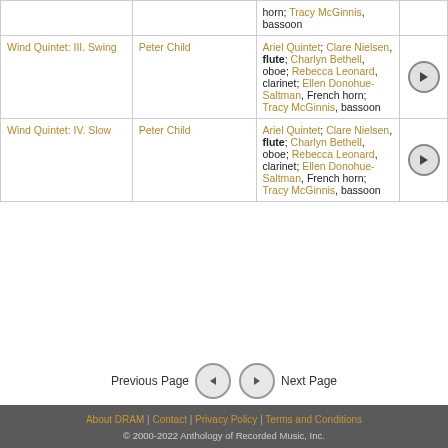| Title | Composer | Performers | Play |
| --- | --- | --- | --- |
|  |  | horn; Tracy McGinnis, bassoon |  |
| Wind Quintet: III. Swing | Peter Child | Ariel Quintet; Clare Nielsen, flute; Charlyn Bethell, oboe; Rebecca Leonard, clarinet; Ellen Donohue-Saltman, French horn; Tracy McGinnis, bassoon | play |
| Wind Quintet: IV. Slow | Peter Child | Ariel Quintet; Clare Nielsen, flute; Charlyn Bethell, oboe; Rebecca Leonard, clarinet; Ellen Donohue-Saltman, French horn; Tracy McGinnis, bassoon | play |
Previous Page | Next Page
About DRAM | Contact | Privacy Policy | Terms and Conditions © 2000-2022 Anthology of Recorded Music, Inc.